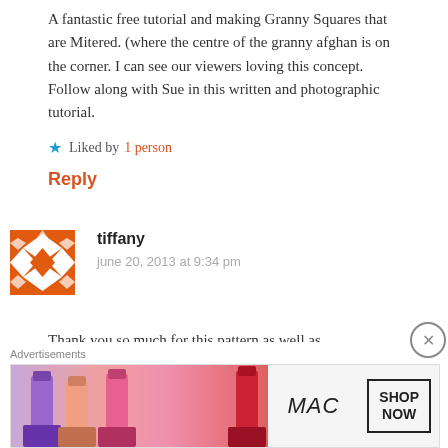A fantastic free tutorial and making Granny Squares that are Mitered. (where the centre of the granny afghan is on the corner. I can see our viewers loving this concept. Follow along with Sue in this written and photographic tutorial.
★ Liked by 1person
Reply
[Figure (illustration): Orange and white geometric pattern avatar for user tiffany]
tiffany
june 20, 2013 at 9:34 pm
Thank you so much for this pattern as well as
Advertisements
[Figure (photo): MAC cosmetics advertisement showing lipsticks with SHOP NOW button]